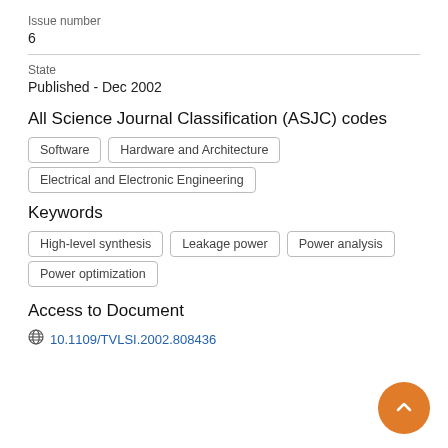Issue number
6
State
Published - Dec 2002
All Science Journal Classification (ASJC) codes
Software
Hardware and Architecture
Electrical and Electronic Engineering
Keywords
High-level synthesis
Leakage power
Power analysis
Power optimization
Access to Document
10.1109/TVLSI.2002.808436